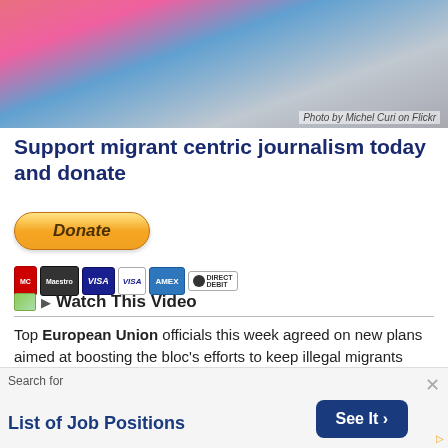[Figure (photo): Photograph of colorful buses/vehicles parked at a station, cropped to show tops of vehicles]
Photo by Michel Curi on Flickr
Support migrant centric journalism today and donate
[Figure (other): PayPal Donate button with payment icons: MasterCard, Maestro, VISA, VISA Debit, American Express, Direct Debit]
🖼 ▶ Watch This Video
Top European Union officials this week agreed on new plans aimed at boosting the bloc's efforts to keep illegal migrants from poor African countries from entering via the southern borders.
Search for
List of Job Positions
See It >